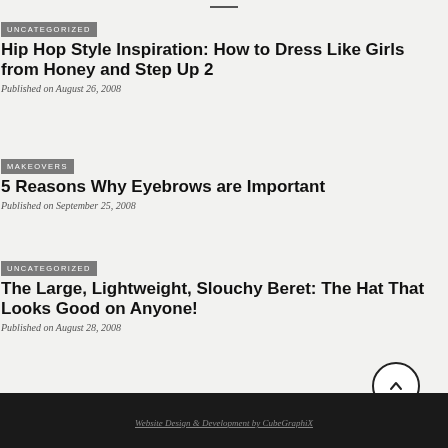UNCATEGORIZED
Hip Hop Style Inspiration: How to Dress Like Girls from Honey and Step Up 2
Published on August 26, 2008
MAKEOVERS
5 Reasons Why Eyebrows are Important
Published on September 25, 2008
UNCATEGORIZED
The Large, Lightweight, Slouchy Beret: The Hat That Looks Good on Anyone!
Published on August 28, 2008
Website Design & Development by CubeGraphiX